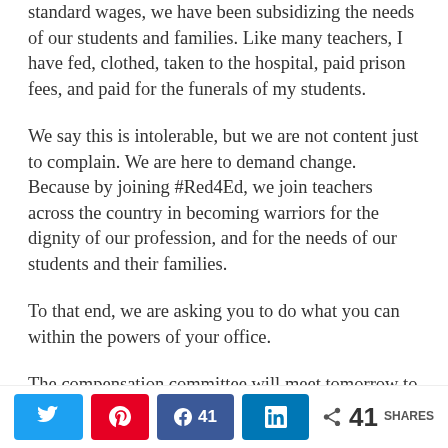standard wages, we have been subsidizing the needs of our students and families. Like many teachers, I have fed, clothed, taken to the hospital, paid prison fees, and paid for the funerals of my students.
We say this is intolerable, but we are not content just to complain. We are here to demand change. Because by joining #Red4Ed, we join teachers across the country in becoming warriors for the dignity of our profession, and for the needs of our students and their families.
To that end, we are asking you to do what you can within the powers of your office.
The compensation committee will meet tomorrow to begin the process of recommending raises for teachers. We ask you to join us by making the work of the compensation committee a priority, and immediately
41 SHARES (Twitter, Pinterest, Facebook 41, LinkedIn, Share)